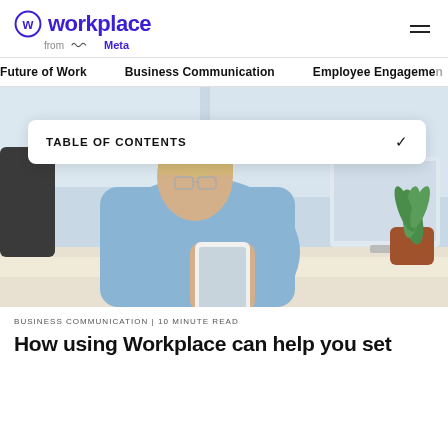workplace from Meta
Future of Work   Business Communication   Employee Engagement
TABLE OF CONTENTS
[Figure (photo): Woman with short blonde hair and glasses sitting at a desk, looking at her phone, with a computer monitor and a potted plant in the background.]
BUSINESS COMMUNICATION | 10 MINUTE READ
How using Workplace can help you set